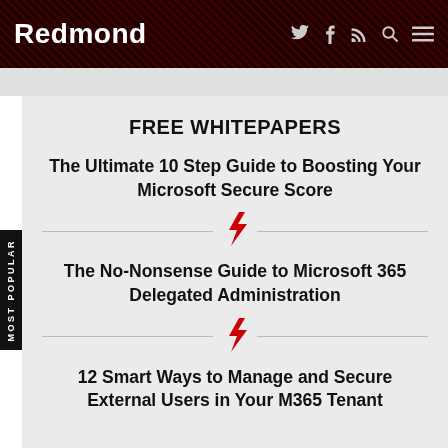Redmond
FREE WHITEPAPERS
The Ultimate 10 Step Guide to Boosting Your Microsoft Secure Score
The No-Nonsense Guide to Microsoft 365 Delegated Administration
12 Smart Ways to Manage and Secure External Users in Your M365 Tenant